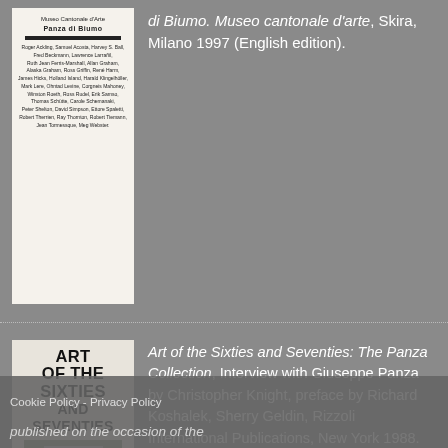[Figure (illustration): Book cover: Panza di Biumo, Museo cantonale d'arte – white cover with list of artist names]
di Biumo. Museo cantonale d'arte, Skira, Milano 1997 (English edition).
[Figure (illustration): Book cover: Art of the Sixties and Seventies – The Panza Collection, with image of framed window/garden]
Art of the Sixties and Seventies: The Panza Collection, Interview with Giuseppe Panza by Christopher Knight, preface by Richard Koshalek, Sherry Geldin, Rizzoli International Publications, New York 1988.
[Figure (illustration): Book cover: Das Bild einer Geschichte 1956/1976 – blue cover with text and vertical light stripe]
Germano Celant (ed.), Das Bild einer Geschichte 1956/1976. Die Sammlung Panza di Biumo, Electa International, Milano 1980.
Cookie Policy - Privacy Policy
published on the occasion of the